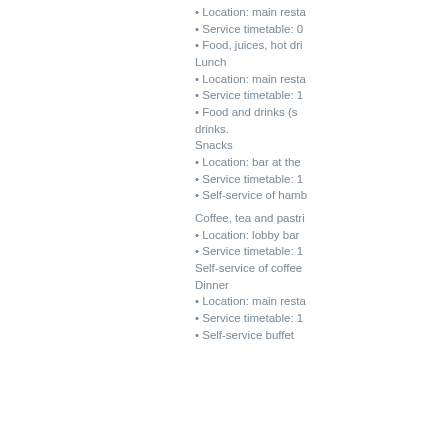• Location: main resta
• Service timetable: 0
• Food, juices, hot dri
Lunch
• Location: main resta
• Service timetable: 1
• Food and drinks (s drinks.
Snacks
• Location: bar at the
• Service timetable: 1
• Self-service of hamb
Coffee, tea and pastri
• Location: lobby bar
• Service timetable: 1
Self-service of coffee
Dinner
• Location: main resta
• Service timetable: 1
• Self-service buffet